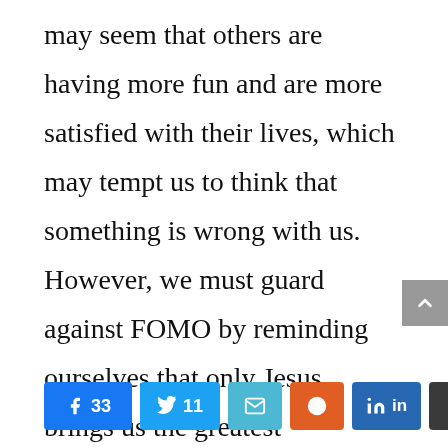may seem that others are having more fun and are more satisfied with their lives, which may tempt us to think that something is wrong with us. However, we must guard against FOMO by reminding ourselves that only Jesus brings us the greatest satisfaction in this life and in the life to come.
[Figure (other): Social media share buttons: Facebook (33), Twitter (11), Email, Reddit, LinkedIn, Buffer]